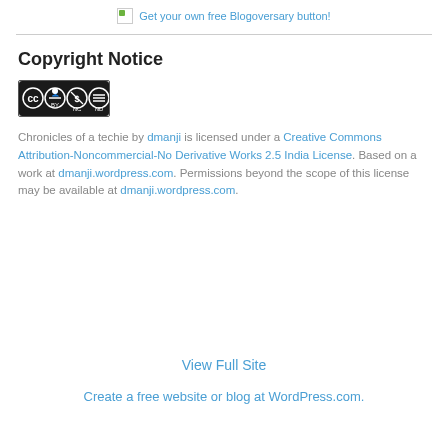[Figure (other): Broken image placeholder with text: Get your own free Blogoversary button!]
Chronicles of a techie by dmanji is licensed under a Creative Commons Attribution-Noncommercial-No Derivative Works 2.5 India License. Based on a work at dmanji.wordpress.com. Permissions beyond the scope of this license may be available at dmanji.wordpress.com.
Copyright Notice
[Figure (logo): Creative Commons license badge: CC BY NC ND icons in a black rounded rectangle]
Chronicles of a techie by dmanji is licensed under a Creative Commons Attribution-Noncommercial-No Derivative Works 2.5 India License. Based on a work at dmanji.wordpress.com. Permissions beyond the scope of this license may be available at dmanji.wordpress.com.
View Full Site
Create a free website or blog at WordPress.com.